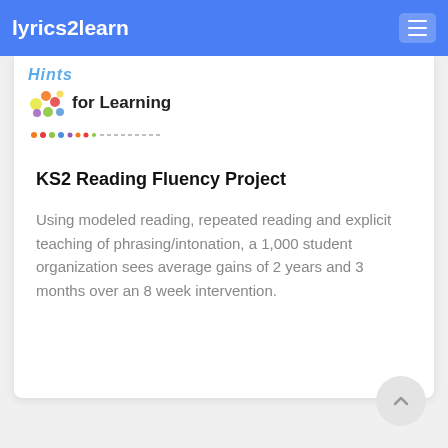lyrics2learn
[Figure (logo): Hints for Learning logo with colorful dots and partial text visible at top of card]
KS2 Reading Fluency Project
Using modeled reading, repeated reading and explicit teaching of phrasing/intonation, a 1,000 student organization sees average gains of 2 years and 3 months over an 8 week intervention.